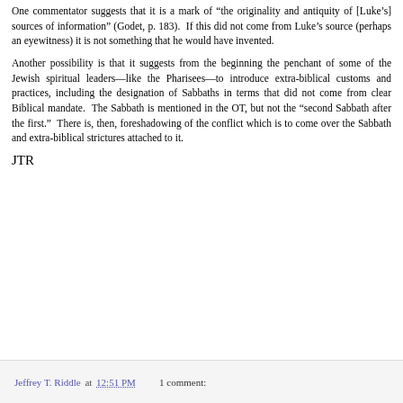One commentator suggests that it is a mark of “the originality and antiquity of [Luke’s] sources of information” (Godet, p. 183).  If this did not come from Luke’s source (perhaps an eyewitness) it is not something that he would have invented.
Another possibility is that it suggests from the beginning the penchant of some of the Jewish spiritual leaders—like the Pharisees—to introduce extra-biblical customs and practices, including the designation of Sabbaths in terms that did not come from clear Biblical mandate.  The Sabbath is mentioned in the OT, but not the “second Sabbath after the first.”  There is, then, foreshadowing of the conflict which is to come over the Sabbath and extra-biblical strictures attached to it.
JTR
Jeffrey T. Riddle at 12:51 PM    1 comment: